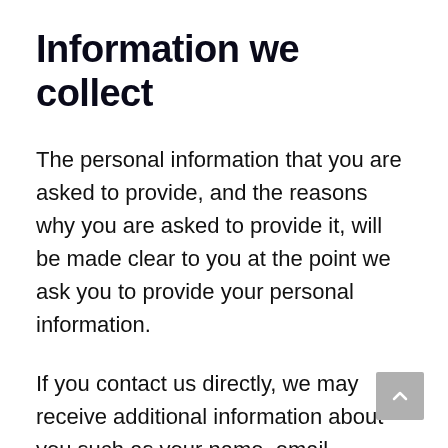Information we collect
The personal information that you are asked to provide, and the reasons why you are asked to provide it, will be made clear to you at the point we ask you to provide your personal information.
If you contact us directly, we may receive additional information about you such as your name, email address, phone number, the contents of the message and/or attachments you may send us, and any other information you may choose to